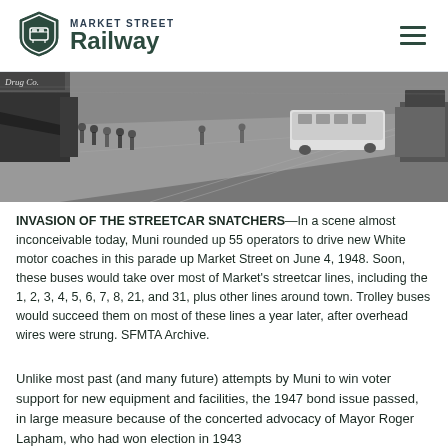MARKET STREET Railway
[Figure (photo): Black and white overhead photograph of Market Street in San Francisco on June 4, 1948, showing a parade of White motor coaches along with pedestrians on the sidewalk and other vehicles on the street.]
INVASION OF THE STREETCAR SNATCHERS—In a scene almost inconceivable today, Muni rounded up 55 operators to drive new White motor coaches in this parade up Market Street on June 4, 1948. Soon, these buses would take over most of Market's streetcar lines, including the 1, 2, 3, 4, 5, 6, 7, 8, 21, and 31, plus other lines around town. Trolley buses would succeed them on most of these lines a year later, after overhead wires were strung. SFMTA Archive.
Unlike most past (and many future) attempts by Muni to win voter support for new equipment and facilities, the 1947 bond issue passed, in large measure because of the concerted advocacy of Mayor Roger Lapham, who had won election in 1943